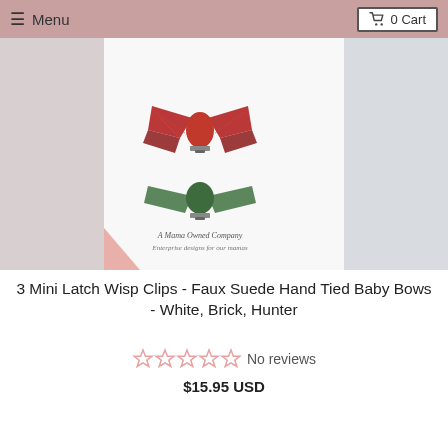≡ Menu  🛒 0 Cart
[Figure (photo): Product photo showing two hair bows on a white card — a red glitter bow on top and a green suede bow below. The card has text: 'A Mama Owned Company, Enterprise designs for our mamas'.]
3 Mini Latch Wisp Clips - Faux Suede Hand Tied Baby Bows - White, Brick, Hunter
No reviews
$15.95 USD